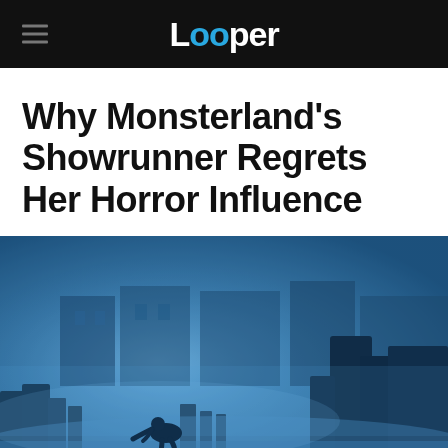Looper
Why Monsterland's Showrunner Regrets Her Horror Influence
[Figure (photo): A blue-tinted atmospheric scene of a figure crouched among dark gravestones or monoliths in a foggy cemetery setting, with mist and eerie lighting. Scene from the TV show Monsterland.]